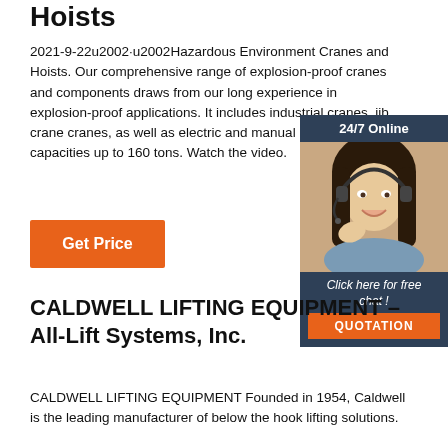Hoists
2021-9-22u2002·u2002Hazardous Environment Cranes and Hoists. Our comprehensive range of explosion-proof cranes and components draws from our long experience in explosion-proof applications. It includes industrial cranes, jib cranes, cranes, as well as electric and manual hoists, with capacities up to 160 tons. Watch the video.
[Figure (photo): Chat widget with photo of woman wearing headset, 24/7 Online header, 'Click here for free chat!' text, and QUOTATION button]
Get Price
CALDWELL LIFTING EQUIPMENT – All-Lift Systems, Inc.
CALDWELL LIFTING EQUIPMENT Founded in 1954, Caldwell is the leading manufacturer of below the hook lifting solutions.